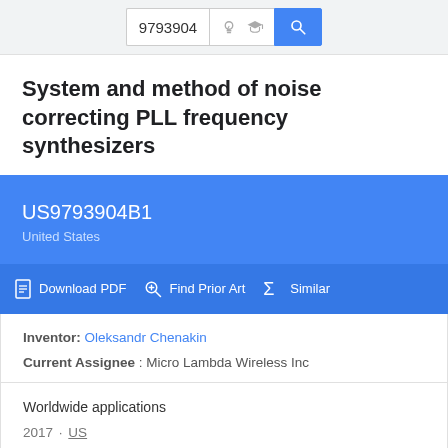9793904
System and method of noise correcting PLL frequency synthesizers
US9793904B1
United States
Download PDF   Find Prior Art   Similar
Inventor: Oleksandr Chenakin
Current Assignee : Micro Lambda Wireless Inc
Worldwide applications
2017 · US